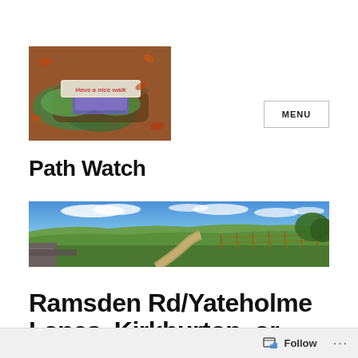[Figure (photo): Square photo of a mossy tree stump or log with a hand-painted wooden sign reading 'Have a nice walk', surrounded by autumn leaves on the ground]
MENU
Path Watch
[Figure (photo): Wide panoramic landscape photo showing green fields, moorland, a dirt track and fence line under a blue sky with white clouds, typical of Yorkshire countryside]
Ramsden Rd/Yateholme
Lanes, Kirkburton, or...
Follow ...